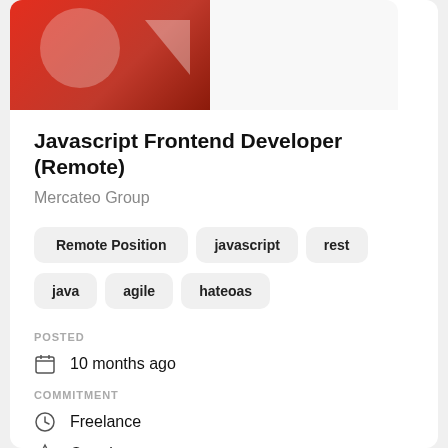[Figure (logo): Red company logo with white graphic elements on red background, Mercateo Group]
Javascript Frontend Developer (Remote)
Mercateo Group
Remote Position
javascript
rest
java
agile
hateoas
POSTED
10 months ago
COMMITMENT
Freelance
Ongoing